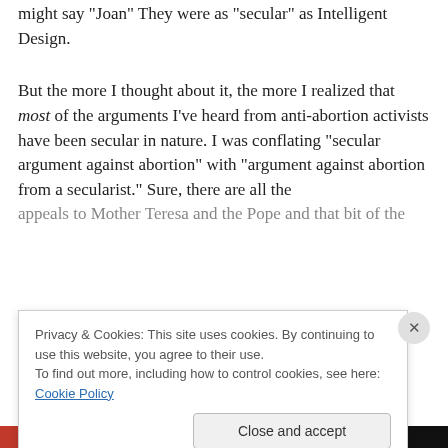might say "Joan" They were as "secular" as Intelligent Design.
But the more I thought about it, the more I realized that most of the arguments I've heard from anti-abortion activists have been secular in nature. I was conflating "secular argument against abortion" with "argument against abortion from a secularist." Sure, there are all the appeals to Mother Teresa and the Pope and that bit of the
Privacy & Cookies: This site uses cookies. By continuing to use this website, you agree to their use.
To find out more, including how to control cookies, see here: Cookie Policy
Close and accept